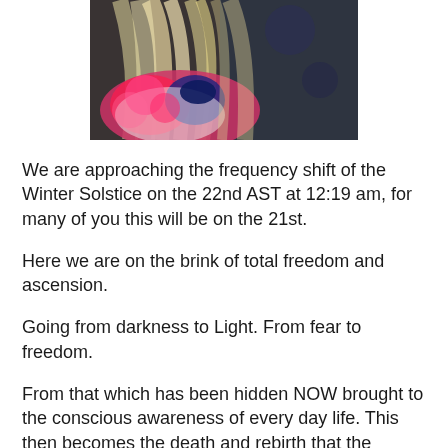[Figure (photo): Close-up photo of a woman with long blonde hair wearing a colorful floral patterned top with dark blue/navy accents, against a dark background.]
We are approaching the frequency shift of the Winter Solstice on the 22nd AST at 12:19 am, for many of you this will be on the 21st.
Here we are on the brink of total freedom and ascension.
Going from darkness to Light. From fear to freedom.
From that which has been hidden NOW brought to the conscious awareness of every day life. This then becomes the death and rebirth that the Ascension is.
What are you fears? of poverty, of loss of beauty, aging,